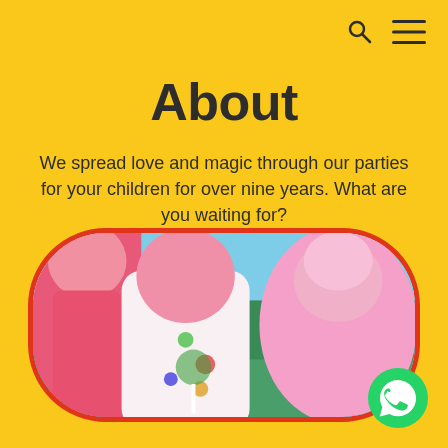[Figure (other): Search icon and hamburger menu icon in top right corner]
About
We spread love and magic through our parties for your children for over nine years. What are you waiting for?
[Figure (photo): Photo of performers in colorful pink costumes at an outdoor party event, framed in a rounded rectangle with red border]
[Figure (logo): WhatsApp green circle button in bottom right corner]